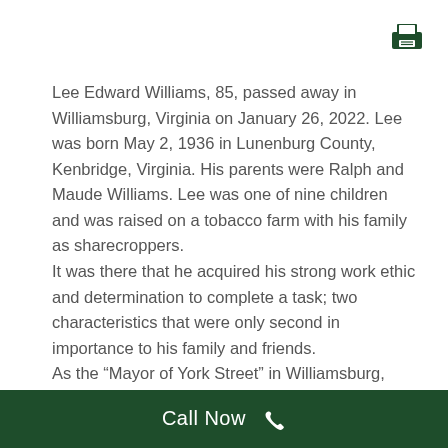[Figure (other): Dark green printer icon in the top right corner of the page]
Lee Edward Williams, 85, passed away in Williamsburg, Virginia on January 26, 2022. Lee was born May 2, 1936 in Lunenburg County, Kenbridge, Virginia. His parents were Ralph and Maude Williams. Lee was one of nine children and was raised on a tobacco farm with his family as sharecroppers.
It was there that he acquired his strong work ethic and determination to complete a task; two characteristics that were only second in importance to his family and friends.
As the “Mayor of York Street” in Williamsburg,
Call Now 📞